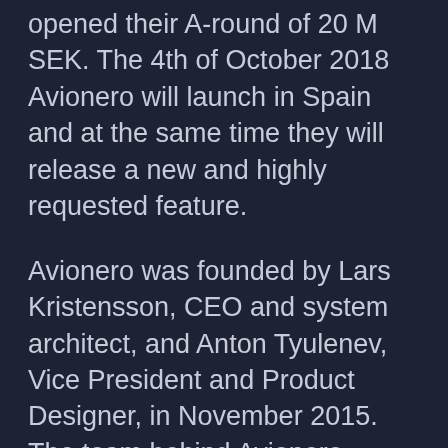opened their A-round of 20 M SEK. The 4th of October 2018 Avionero will launch in Spain and at the same time they will release a new and highly requested feature.
Avionero was founded by Lars Kristensson, CEO and system architect, and Anton Tyulenev, Vice President and Product Designer, in November 2015. The team behind Avionero consists of 13 people located in Sweden, Moscow, Bolivia, and Denmark.